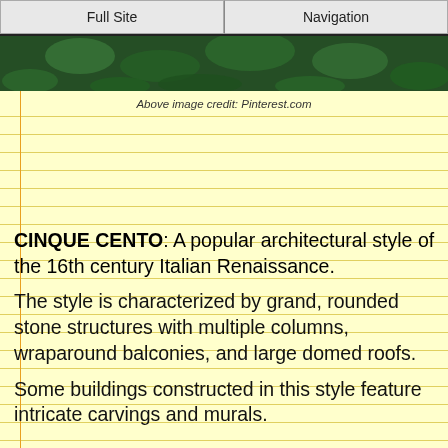Full Site | Navigation
[Figure (photo): Close-up photo of dark green foliage/leaves]
Above image credit: Pinterest.com
CINQUE CENTO: A popular architectural style of the 16th century Italian Renaissance.
The style is characterized by grand, rounded stone structures with multiple columns, wraparound balconies, and large domed roofs.
Some buildings constructed in this style feature intricate carvings and murals.